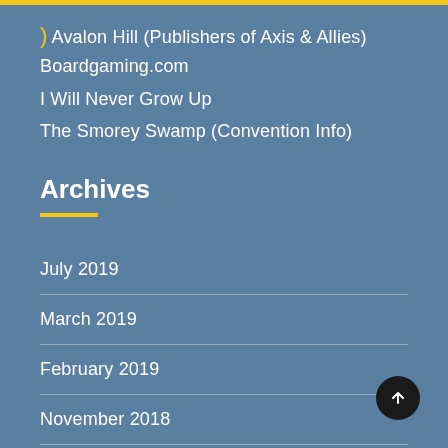) Avalon Hill (Publishers of Axis & Allies)
Boardgaming.com
I Will Never Grow Up
The Smorey Swamp (Convention Info)
Archives
July 2019
March 2019
February 2019
November 2018